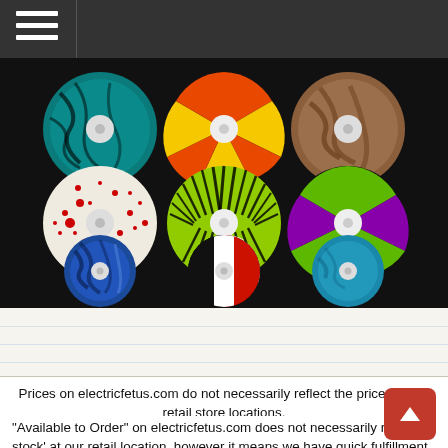[Figure (photo): Nine colorful vinyl records arranged in a 3x3 grid on a black background. Top row: teal/black swirl, red/orange/yellow pinwheel, brown/skin-tone. Middle row: white with red splatter, green/black feathered, green/purple pinwheel. Bottom row: blue marbled, black/white/red tricolor, solid teal/blue.]
Prices on electricfetus.com do not necessarily reflect the prices in our retail store locations.
"Available to Order" on electricfetus.com does not necessarily reflect 'in stock' at our retail location, however it means we have quick fulfillment (generally 2-3 business days). If you place an order for "store pickup" or "curbside pickup" we will call you when your order is ready. It may take several days even over a weekend, or if the item isn't in